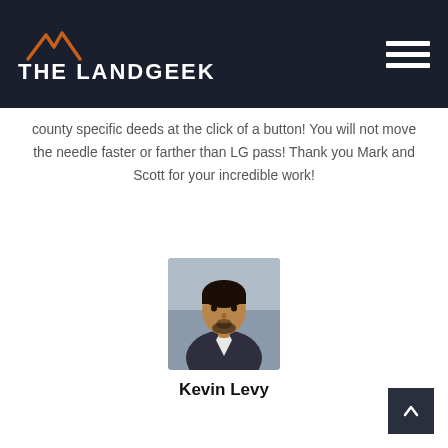[Figure (logo): The LandGeek logo with mountain icon on dark navy background, with hamburger menu icon on the right]
county specific deeds at the click of a button! You will not move the needle faster or farther than LG pass! Thank you Mark and Scott for your incredible work!
[Figure (photo): Headshot photo of Kevin Levy, a man in a suit jacket with a beard]
Kevin Levy